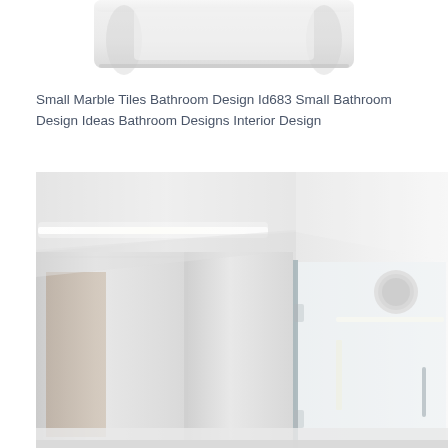[Figure (photo): Top portion of a white bathroom fixture or sink, partially cropped, on white background]
Small Marble Tiles Bathroom Design Id683 Small Bathroom Design Ideas Bathroom Designs Interior Design
[Figure (photo): Modern minimalist bathroom interior with large mirrors, glass shower enclosure, LED strip lighting along ceiling, white walls, and a ceiling-mounted round shower head]